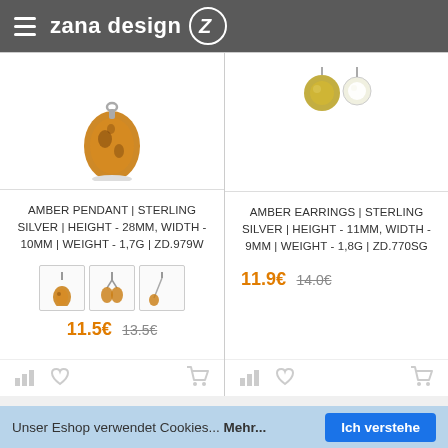zana design
[Figure (photo): Amber pendant product image - orange/amber colored oval pendant]
[Figure (photo): Amber earrings product image - gold and pearl earrings]
AMBER PENDANT | STERLING SILVER | HEIGHT - 28MM, WIDTH - 10MM | WEIGHT - 1,7G | ZD.979W
[Figure (photo): Three variant thumbnail images of amber pendants in different styles]
11.5€ 13.5€
AMBER EARRINGS | STERLING SILVER | HEIGHT - 11MM, WIDTH - 9MM | WEIGHT - 1,8G | ZD.770SG
11.9€ 14.0€
Unser Eshop verwendet Cookies... Mehr... Ich verstehe